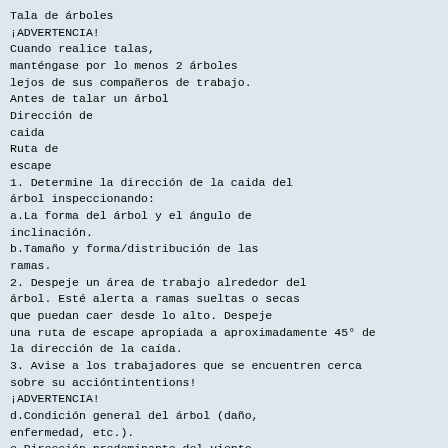Tala de árboles
¡ADVERTENCIA!
Cuando realice talas,
manténgase por lo menos 2 árboles
lejos de sus compañeros de trabajo.
Antes de talar un árbol
Dirección de
caida
Ruta de
escape
1. Determine la dirección de la caida del
árbol inspeccionando:
a.La forma del árbol y el ángulo de
inclinación.
b.Tamaño y forma/distribución de las
ramas.
2. Despeje un área de trabajo alrededor del
árbol. Esté alerta a ramas sueltas o secas
que puedan caer desde lo alto. Despeje
una ruta de escape apropiada a aproximadamente 45° de
la dirección de la caída.
3. Avise a los trabajadores que se encuentren cerca
sobre su accióntintentions!
¡ADVERTENCIA!
d.Condición general del árbol (daño,
enfermedad, etc.).
e.Dirección predominante del viento.
c.Ubicación de árboles u otros obstáculos
circundantes.
Los árboles enfermos, dañados o fuera de equilibrio
pueden caer
inesperadamente durante la tala y
deben ser talados por un talador de